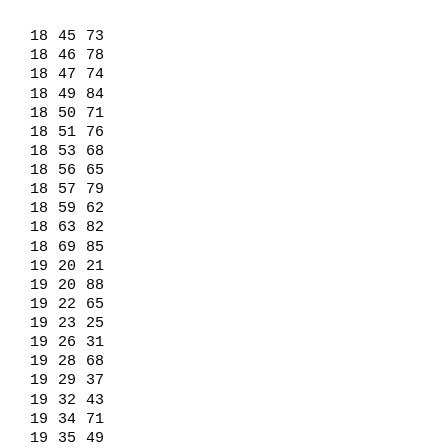| col1 | col2 | col3 |
| --- | --- | --- |
| 18 | 45 | 73 |
| 18 | 46 | 78 |
| 18 | 47 | 74 |
| 18 | 49 | 84 |
| 18 | 50 | 71 |
| 18 | 51 | 76 |
| 18 | 53 | 68 |
| 18 | 56 | 65 |
| 18 | 57 | 79 |
| 18 | 59 | 62 |
| 18 | 63 | 82 |
| 18 | 69 | 85 |
| 19 | 20 | 21 |
| 19 | 20 | 88 |
| 19 | 22 | 65 |
| 19 | 23 | 25 |
| 19 | 26 | 31 |
| 19 | 28 | 68 |
| 19 | 29 | 37 |
| 19 | 32 | 43 |
| 19 | 34 | 71 |
| 19 | 35 | 49 |
| 19 | 38 | 55 |
| 19 | 40 | 74 |
| 19 | 41 | 61 |
| 19 | 42 | 87 |
| 19 | 44 | 67 |
| 19 | 45 | 84 |
| 19 | 46 | 77 |
| 19 | 47 | 73 |